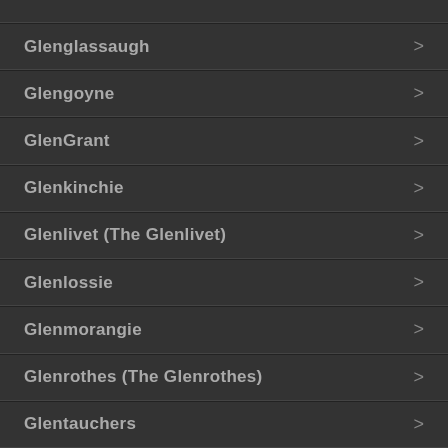Glenglassaugh
Glengoyne
GlenGrant
Glenkinchie
Glenlivet (The Glenlivet)
Glenlossie
Glenmorangie
Glenrothes (The Glenrothes)
Glentauchers